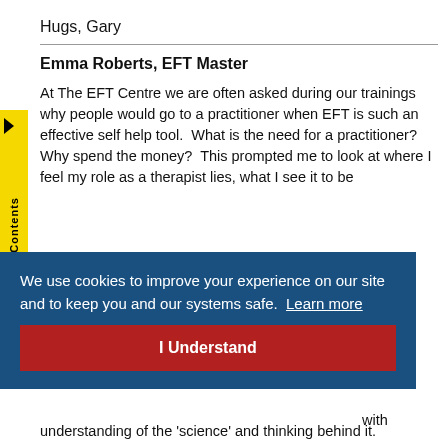Hugs, Gary
Emma Roberts, EFT Master
At The EFT Centre we are often asked during our trainings why people would go to a practitioner when EFT is such an effective self help tool.  What is the need for a practitioner?  Why spend the money?  This prompted me to look at where I feel my role as a therapist lies, what I see it to be
We use cookies to improve your experience on our site and to keep you and our systems safe.  Learn more
I Understand
understanding of the 'science' and thinking behind it.